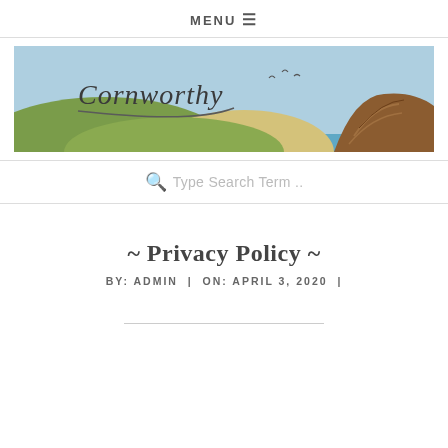MENU ☰
[Figure (illustration): Cornworthy website banner illustration showing rolling green hills, sandy dune, ocean water strip, brown rocky cliff on right, and birds in a light blue sky. 'Cornworthy' text in handwritten style on the left.]
🔍 Type Search Term ..
~ Privacy Policy ~
BY: ADMIN | ON: APRIL 3, 2020 |